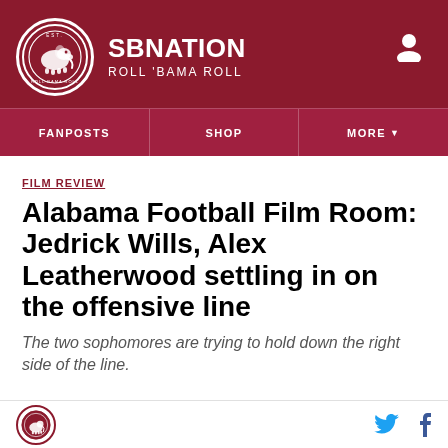SB NATION — ROLL 'BAMA ROLL
FILM REVIEW
Alabama Football Film Room: Jedrick Wills, Alex Leatherwood settling in on the offensive line
The two sophomores are trying to hold down the right side of the line.